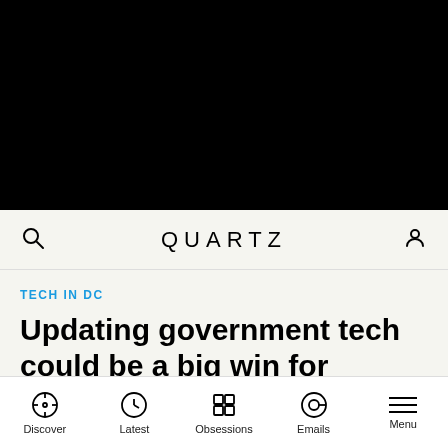[Figure (photo): Black image area at top of page (article hero image, content not visible)]
QUARTZ
TECH IN DC
Updating government tech could be a big win for Trump—but he has no
Discover  Latest  Obsessions  Emails  Menu